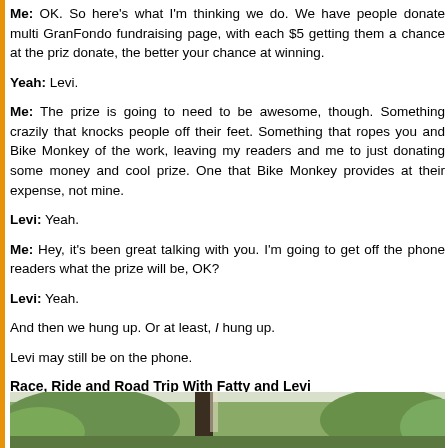Me: OK. So here's what I'm thinking we do. We have people donate multi GranFondo fundraising page, with each $5 getting them a chance at the priz donate, the better your chance at winning.
Yeah: Levi.
Me: The prize is going to need to be awesome, though. Something crazily that knocks people off their feet. Something that ropes you and Bike Monkey of the work, leaving my readers and me to just donating some money and cool prize. One that Bike Monkey provides at their expense, not mine.
Levi: Yeah.
Me: Hey, it's been great talking with you. I'm going to get off the phone readers what the prize will be, OK?
Levi: Yeah.
And then we hung up. Or at least, I hung up.
Levi may still be on the phone.
Race, Ride and Road Trip With Fatty and Levi
Boggs is not just a bike race. It's three bike races: A hill climb. An Eight-H Super D. And it's in a spectacular location.
[Figure (photo): Outdoor forest/nature scene with trees, likely taken at a bike race location]